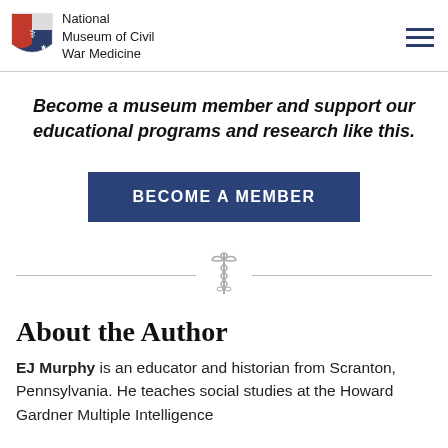National Museum of Civil War Medicine
Become a museum member and support our educational programs and research like this.
BECOME A MEMBER
[Figure (illustration): Caduceus medical symbol divider]
About the Author
EJ Murphy is an educator and historian from Scranton, Pennsylvania. He teaches social studies at the Howard Gardner Multiple Intelligence